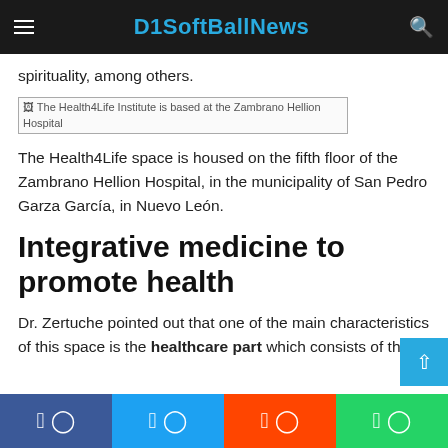D1SoftBallNews
spirituality, among others.
[Figure (other): Broken image placeholder: The Health4Life Institute is based at the Zambrano Hellion Hospital]
The Health4Life space is housed on the fifth floor of the Zambrano Hellion Hospital, in the municipality of San Pedro Garza García, in Nuevo León.
Integrative medicine to promote health
Dr. Zertuche pointed out that one of the main characteristics of this space is the healthcare part which consists of the